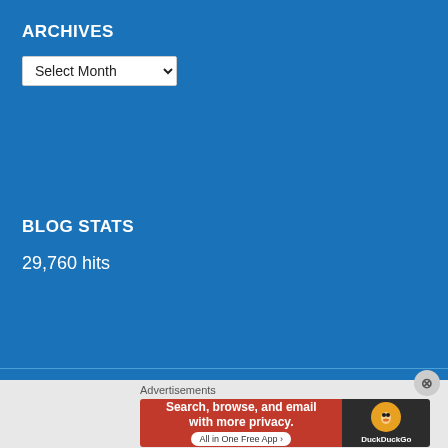ARCHIVES
Select Month
BLOG STATS
29,760 hits
DISCLAIMER
This web site is maintained by Gary Buck, an owner and Chairman of
Advertisements
[Figure (screenshot): DuckDuckGo advertisement banner: Search, browse, and email with more privacy. All in One Free App. DuckDuckGo logo on right.]